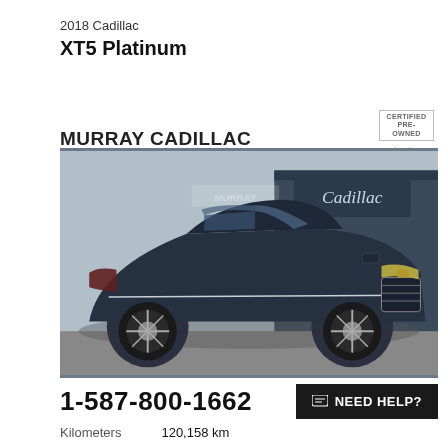2018 Cadillac XT5 Platinum
MURRAY CADILLAC LETHBRIDGE
[Figure (photo): 2018 Cadillac XT5 Platinum SUV in dark navy blue, parked in front of a Murray Cadillac dealership. Cadillac signage visible in background.]
[Figure (logo): Certified Pre-Owned Cadillac badge with Cadillac crest emblem and script logo]
1-587-800-1662
NEED HELP?
Kilometers    120,158 km